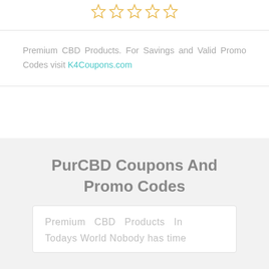[Figure (illustration): Five outlined star icons in a row (rating stars), colored with a light orange/gold outline, all empty/unfilled, centered horizontally.]
Premium CBD Products. For Savings and Valid Promo Codes visit K4Coupons.com
PurCBD Coupons And Promo Codes
Premium CBD Products In Todays World Nobody has time